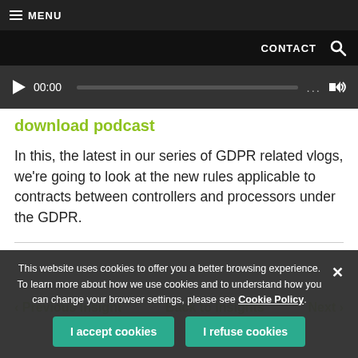≡ MENU
CONTACT 🔍
[Figure (other): Audio player bar showing play button, 00:00 timestamp, progress bar, ellipsis menu, and volume icon]
download podcast
In this, the latest in our series of GDPR related vlogs, we're going to look at the new rules applicable to contracts between controllers and processors under the GDPR.
Previous Insight   Back to Insights   Next
This website uses cookies to offer you a better browsing experience. To learn more about how we use cookies and to understand how you can change your browser settings, please see Cookie Policy.
I accept cookies   I refuse cookies